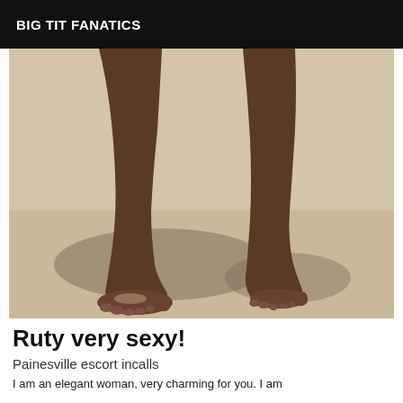BIG TIT FANATICS
[Figure (photo): Close-up photo of a person's bare legs and feet standing on a beige/tan floor with shadow cast behind]
Ruty very sexy!
Painesville escort incalls
I am an elegant woman, very charming for you. I am